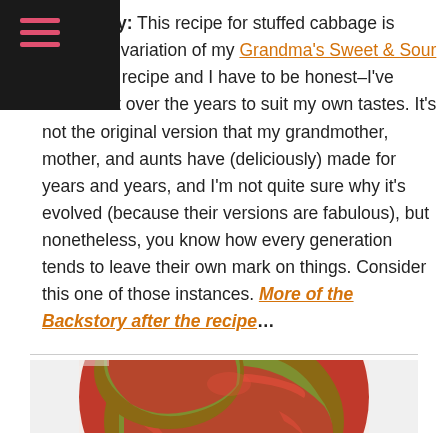Backstory: This recipe for stuffed cabbage is actually a variation of my Grandma's Sweet & Sour Meatballs recipe and I have to be honest–I've tweaked it over the years to suit my own tastes. It's not the original version that my grandmother, mother, and aunts have (deliciously) made for years and years, and I'm not quite sure why it's evolved (because their versions are fabulous), but nonetheless, you know how every generation tends to leave their own mark on things. Consider this one of those instances. More of the Backstory after the recipe…
[Figure (photo): Close-up photo of stuffed cabbage rolls covered in red tomato sauce on a white plate]